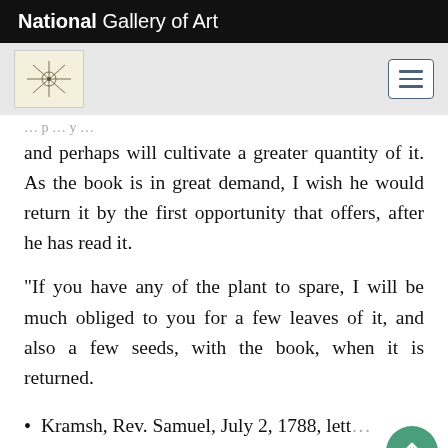National Gallery of Art
and perhaps will cultivate a greater quantity of it. As the book is in great demand, I wish he would return it by the first opportunity that offers, after he has read it.
"If you have any of the plant to spare, I will be much obliged to you for a few leaves of it, and also a few seeds, with the book, when it is returned.
Kramsh, Rev. Samuel, July 2, 1788, lett from Nazareth to Humphry Marshall